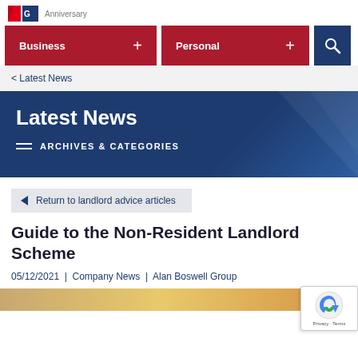Alan Boswell Group | Anniversary
Business + | Personal + | [search]
< Latest News
Latest News
ARCHIVES & CATEGORIES
Return to landlord advice articles
Guide to the Non-Resident Landlord Scheme
05/12/2021  |  Company News  |  Alan Boswell Group